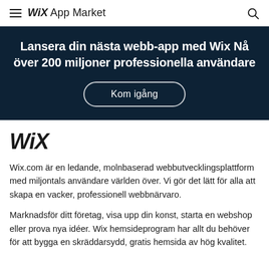Wix App Market
Lansera din nästa webb-app med Wix Nå över 200 miljoner professionella användare
Kom igång
WiX
Wix.com är en ledande, molnbaserad webbutvecklingsplattform med miljontals användare världen över. Vi gör det lätt för alla att skapa en vacker, professionell webbnärvaro.
Marknadsför ditt företag, visa upp din konst, starta en webshop eller prova nya idéer. Wix hemsideprogram har allt du behöver för att bygga en skräddarsydd, gratis hemsida av hög kvalitet.